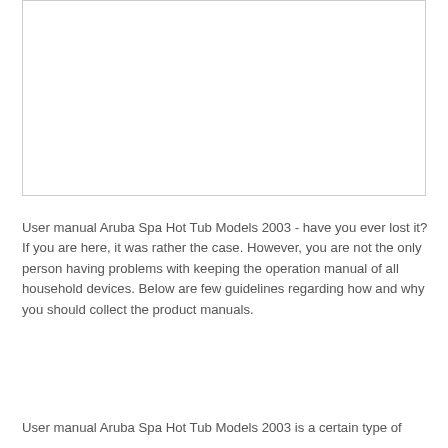[Figure (other): White rectangular image box with border]
User manual Aruba Spa Hot Tub Models 2003 - have you ever lost it? If you are here, it was rather the case. However, you are not the only person having problems with keeping the operation manual of all household devices. Below are few guidelines regarding how and why you should collect the product manuals.
User manual Aruba Spa Hot Tub Models 2003 is a certain type of